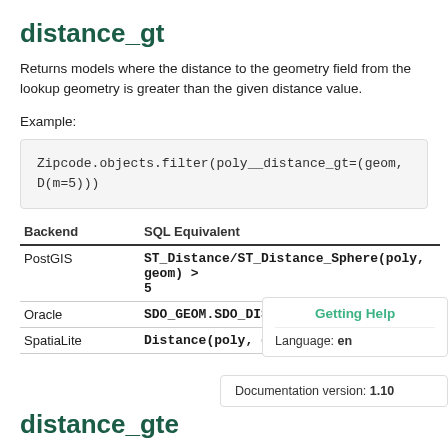distance_gt
Returns models where the distance to the geometry field from the lookup geometry is greater than the given distance value.
Example:
| Backend | SQL Equivalent |
| --- | --- |
| PostGIS | ST_Distance/ST_Distance_Sphere(poly, geom) > 5 |
| Oracle | SDO_GEOM.SDO_DISTANCE(poly, geo., . |
| SpatiaLite | Distance(poly, geom) > 5 |
distance_gte